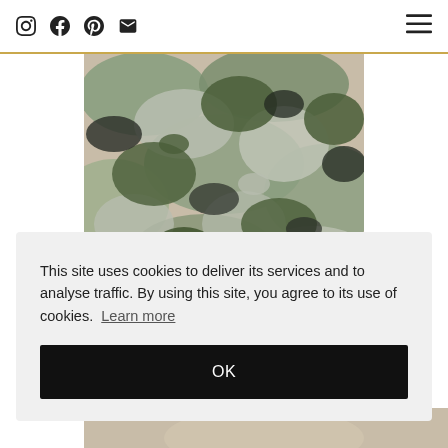Instagram, Facebook, Pinterest, Email icons; hamburger menu
[Figure (photo): Close-up photograph of camouflage fabric texture in green, grey, beige and black tones]
This site uses cookies to deliver its services and to analyse traffic. By using this site, you agree to its use of cookies. Learn more
OK